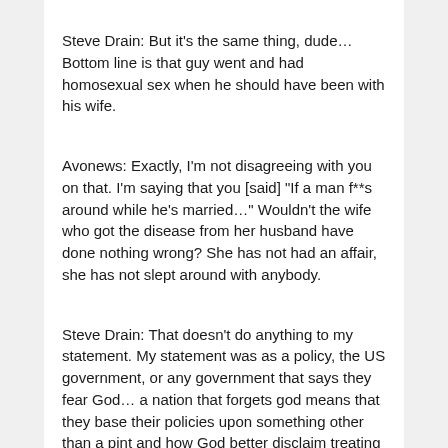Steve Drain: But it’s the same thing, dude… Bottom line is that guy went and had homosexual sex when he should have been with his wife.
Avonews: Exactly, I’m not disagreeing with you on that. I’m saying that you [said] “If a man f**s around while he’s married…” Wouldn’t the wife who got the disease from her husband have done nothing wrong? She has not had an affair, she has not slept around with anybody.
Steve Drain: That doesn’t do anything to my statement. My statement was as a policy, the US government, or any government that says they fear God… a nation that forgets god means that they base their policies upon something other than a pint and how God better disclaim treating AIDS